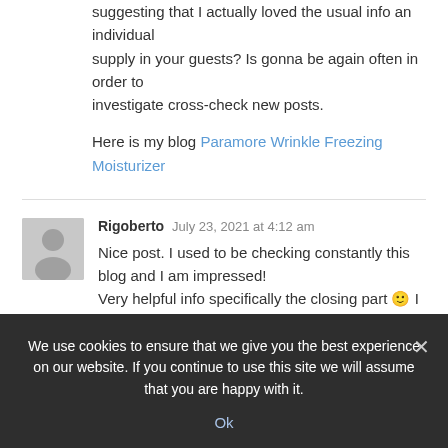I simply could not go away your website prior to suggesting that I actually loved the usual info an individual supply in your guests? Is gonna be again often in order to investigate cross-check new posts.
Here is my blog Paramore Wrinkle Freezing Moisturizer
Rigoberto  July 23, 2021 at 4:12 am
Nice post. I used to be checking constantly this blog and I am impressed! Very helpful info specifically the closing part 🙂 I
We use cookies to ensure that we give you the best experience on our website. If you continue to use this site we will assume that you are happy with it.
Ok